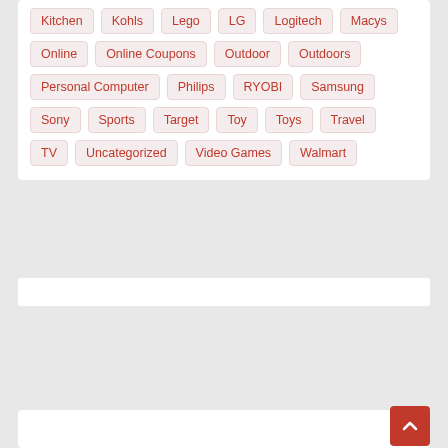Kitchen
Kohls
Lego
LG
Logitech
Macys
Online
Online Coupons
Outdoor
Outdoors
Personal Computer
Philips
RYOBI
Samsung
Sony
Sports
Target
Toy
Toys
Travel
TV
Uncategorized
Video Games
Walmart
YOU MISSED